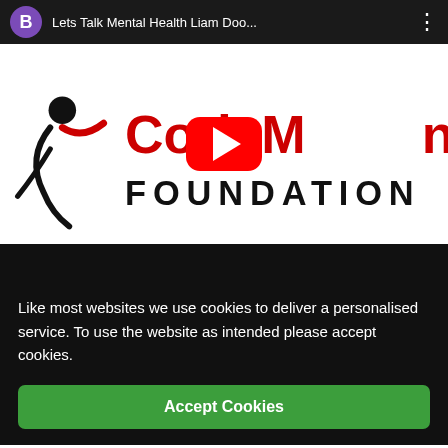[Figure (screenshot): YouTube video bar showing avatar 'B' in purple circle, title 'Lets Talk Mental Health Liam Doo...' and three-dot menu icon on dark background]
[Figure (screenshot): Cork Mental Health Foundation logo with red text and stylized figure icon, with YouTube red play button overlay in center]
Like most websites we use cookies to deliver a personalised service. To use the website as intended please accept cookies.
Accept Cookies
Latest